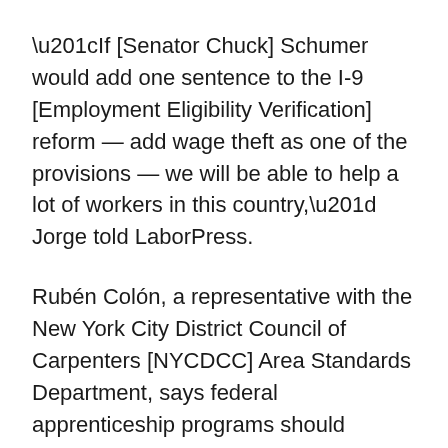“If [Senator Chuck] Schumer would add one sentence to the I-9 [Employment Eligibility Verification] reform — add wage theft as one of the provisions — we will be able to help a lot of workers in this country,” Jorge told LaborPress.
Rubén Colón, a representative with the New York City District Council of Carpenters [NYCDCC] Area Standards Department, says federal apprenticeship programs should “evaluate their position and rationale” regarding Social Security documentation.
“Such programs should be accessible to all,” he told LaborPress. “However, by that same token we must be